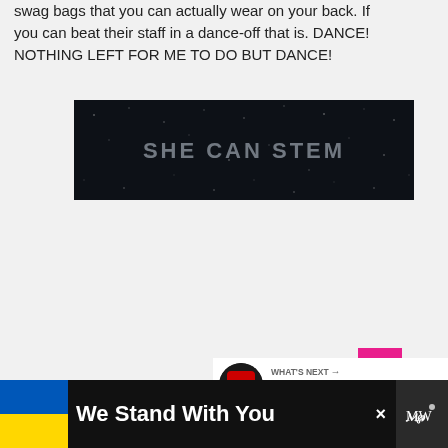swag bags that you can actually wear on your back. If you can beat their staff in a dance-off that is. DANCE! NOTHING LEFT FOR ME TO DO BUT DANCE!
[Figure (screenshot): Dark banner image with text 'SHE CAN STEM' in light gray letters on a dark navy/black starry background]
[Figure (screenshot): Website UI element: circular blue like/heart button, count of 1, pink scroll-to-top button with arrow, and 'WHAT'S NEXT' panel showing an EA thumbnail with text 'E3 2012: What to expect fro...']
[Figure (screenshot): Advertisement bar at bottom: black background with Ukrainian flag colors (blue and yellow), text 'We Stand With You', close button X, and Merriam-Webster logo]